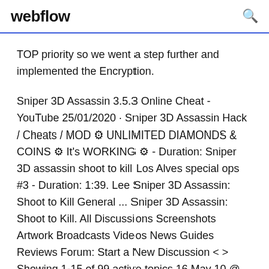webflow
TOP priority so we went a step further and implemented the Encryption.
Sniper 3D Assassin 3.5.3 Online Cheat - YouTube 25/01/2020 · Sniper 3D Assassin Hack / Cheats / MOD ⚙ UNLIMITED DIAMONDS & COINS ⚙ It's WORKING ⚙ - Duration: Sniper 3D assassin shoot to kill Los Alves special ops #3 - Duration: 1:39. Lee Sniper 3D Assassin: Shoot to Kill General ... Sniper 3D Assassin: Shoot to Kill. All Discussions Screenshots Artwork Broadcasts Videos News Guides Reviews Forum: Start a New Discussion < > Showing 1-15 of 99 active topics 16 May 10 @ 10:36am purchases always